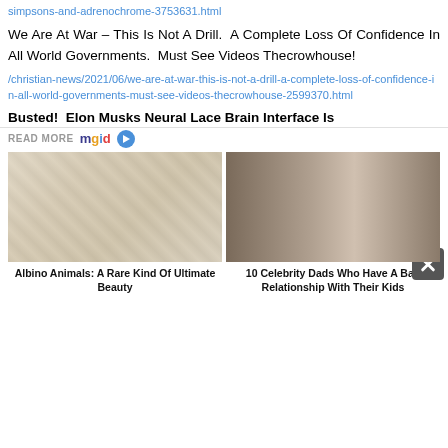simpsons-and-adrenochrome-3753631.html
We Are At War – This Is Not A Drill. A Complete Loss Of Confidence In All World Governments. Must See Videos Thecrowhouse!
/christian-news/2021/06/we-are-at-war-this-is-not-a-drill-a-complete-loss-of-confidence-in-all-world-governments-must-see-videos-thecrowhouse-2599370.html
Busted! Elon Musks Neural Lace Brain Interface Is
READ MORE mgid
[Figure (photo): Albino snake close-up with red and blue eyes on textured white background]
Albino Animals: A Rare Kind Of Ultimate Beauty
[Figure (photo): Two people side by side: a man in a dark suit and a young girl with a pink flower in her hair]
10 Celebrity Dads Who Have A Bad Relationship With Their Kids